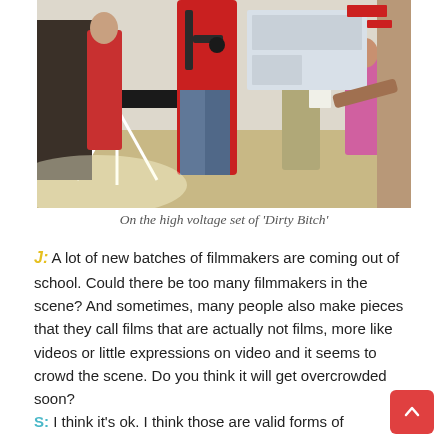[Figure (photo): People on a film set, including a person in a red shirt with camera equipment/harness, children and young people in a bright room with a table and tripod/camera stand setup.]
On the high voltage set of 'Dirty Bitch'
J: A lot of new batches of filmmakers are coming out of school. Could there be too many filmmakers in the scene? And sometimes, many people also make pieces that they call films that are actually not films, more like videos or little expressions on video and it seems to crowd the scene. Do you think it will get overcrowded soon?
S: I think it's ok. I think those are valid forms of